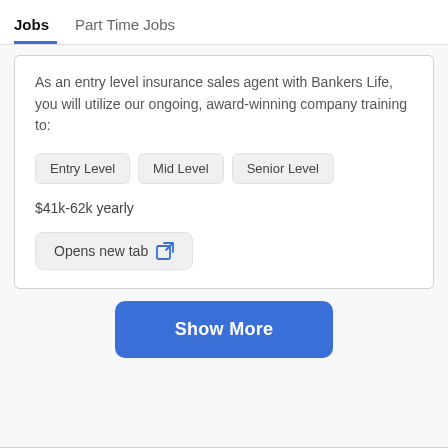Jobs   Part Time Jobs
As an entry level insurance sales agent with Bankers Life, you will utilize our ongoing, award-winning company training to:
Entry Level
Mid Level
Senior Level
$41k-62k yearly
Opens new tab
Show More